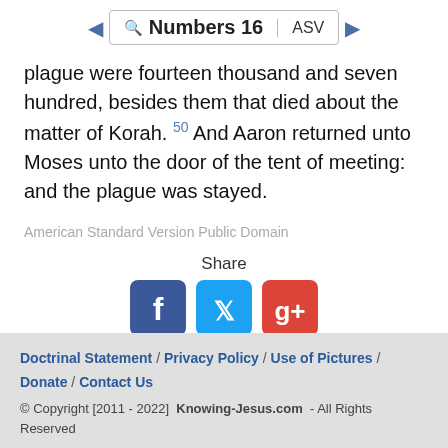Numbers 16 ASV
plague were fourteen thousand and seven hundred, besides them that died about the matter of Korah. 50 And Aaron returned unto Moses unto the door of the tent of meeting: and the plague was stayed.
American Standard Version Public Domain
Share
[Figure (infographic): Share icons: Facebook (blue), Twitter (light blue), Google+ (red)]
Doctrinal Statement / Privacy Policy / Use of Pictures / Donate / Contact Us
© Copyright [2011 - 2022] Knowing-Jesus.com - All Rights Reserved